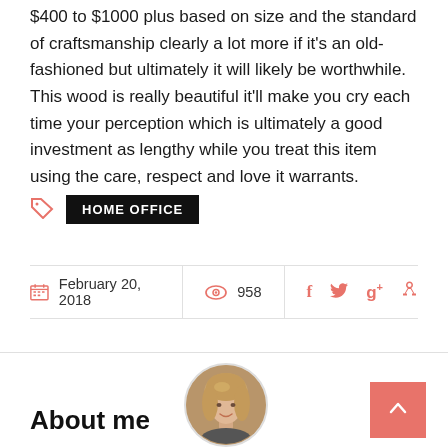$400 to $1000 plus based on size and the standard of craftsmanship clearly a lot more if it's an old-fashioned but ultimately it will likely be worthwhile. This wood is really beautiful it'll make you cry each time your perception which is ultimately a good investment as lengthy while you treat this item using the care, respect and love it warrants.
HOME OFFICE
February 20, 2018
958
[Figure (photo): Circular avatar photo of a smiling blonde woman]
About me